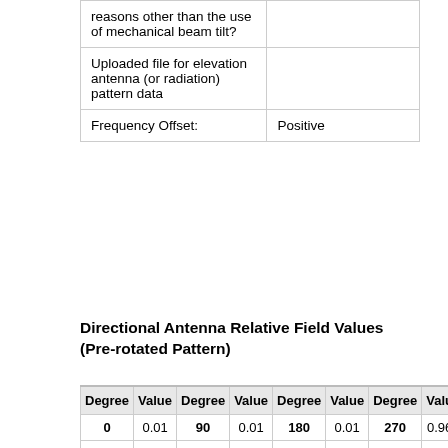|  |  |
| --- | --- |
| reasons other than the use of mechanical beam tilt? |  |
| Uploaded file for elevation antenna (or radiation) pattern data |  |
| Frequency Offset: | Positive |
Directional Antenna Relative Field Values (Pre-rotated Pattern)
| Degree | Value | Degree | Value | Degree | Value | Degree | Value |
| --- | --- | --- | --- | --- | --- | --- | --- |
| 0 | 0.01 | 90 | 0.01 | 180 | 0.01 | 270 | 0.961 |
| 10 | 0.01 | 100 | 0.01 | 190 | 0.01 | 280 | 0.934 |